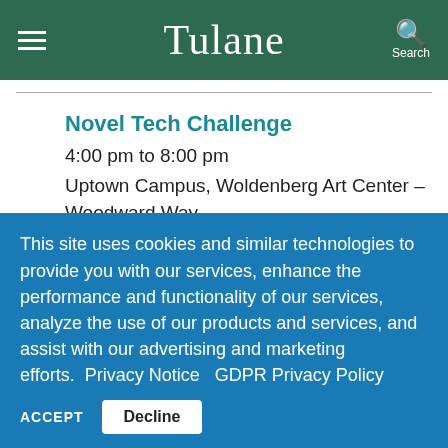Tulane
Novel Tech Challenge
4:00 pm to 8:00 pm
Uptown Campus, Woldenberg Art Center – Woodward Way
EVENT DETAILS »
This site uses cookies and similar technologies to provide you with our services, enhance the performance and functionality of our services, analyze the use of our products and services, and assist with our advertising and marketing efforts.  Privacy Notice   GDPR Privacy Policy
ACCEPT   Decline